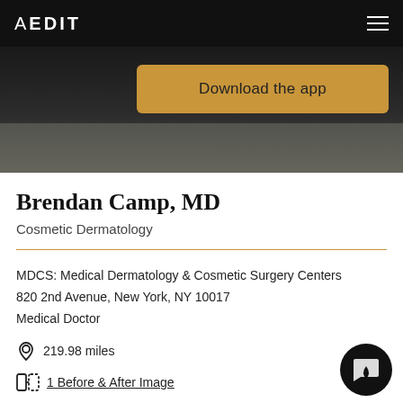AEDIT
[Figure (screenshot): Download the app button overlay on dark hero image of medical office]
Brendan Camp, MD
Cosmetic Dermatology
MDCS: Medical Dermatology & Cosmetic Surgery Centers
820 2nd Avenue, New York, NY 10017
Medical Doctor
219.98 miles
1 Before & After Image
Virtual appointments available